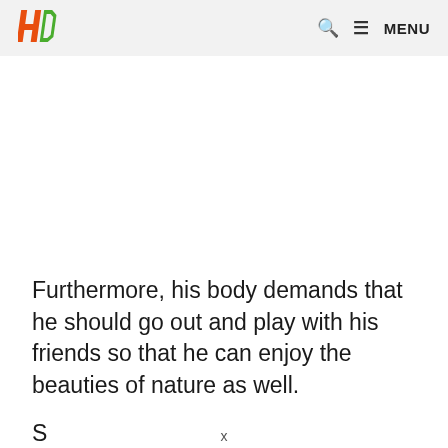HD | MENU
Furthermore, his body demands that he should go out and play with his friends so that he can enjoy the beauties of nature as well.
S...